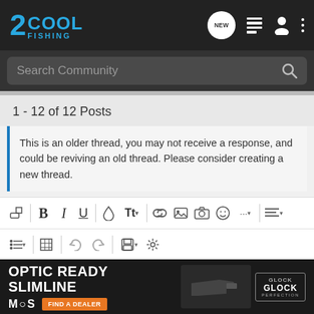2COOL FISHING
Search Community
1 - 12 of 12 Posts
This is an older thread, you may not receive a response, and could be reviving an old thread. Please consider creating a new thread.
[Figure (screenshot): Text editor toolbar with formatting icons: eraser, Bold, Italic, Underline, color, font size, link, image, camera, emoji, more, align; and second row: list, table, undo, redo, save, settings]
Write your reply...
[Figure (photo): Glock advertisement banner: OPTIC READY SLIMLINE, MOS, FIND A DEALER button, Glock Perfection logo]